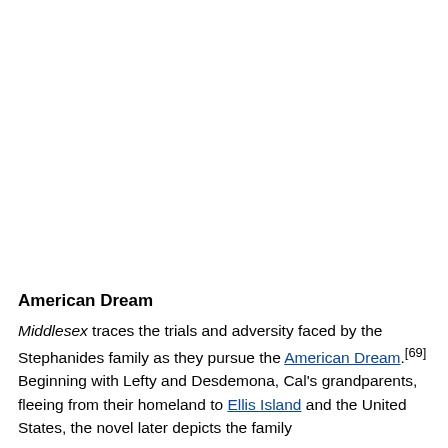American Dream
Middlesex traces the trials and adversity faced by the Stephanides family as they pursue the American Dream.[69] Beginning with Lefty and Desdemona, Cal's grandparents, fleeing from their homeland to Ellis Island and the United States, the novel later depicts the family